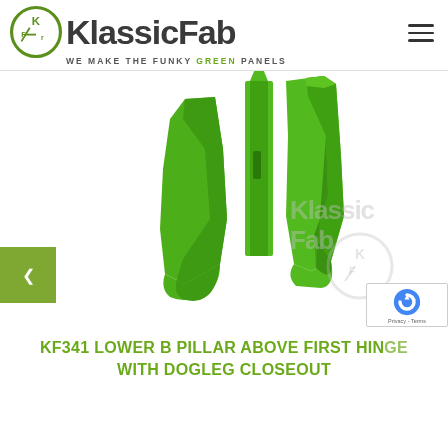[Figure (logo): KlassicFab logo with KF circle emblem and tagline 'WE MAKE THE FUNKY GREEN PANELS']
[Figure (photo): Four green automotive B-pillar panels arranged standing upright on white background, with KlassicFab watermark logo in background]
KF341 LOWER B PILLAR ABOVE FIRST HINGE WITH DOGLEG CLOSEOUT